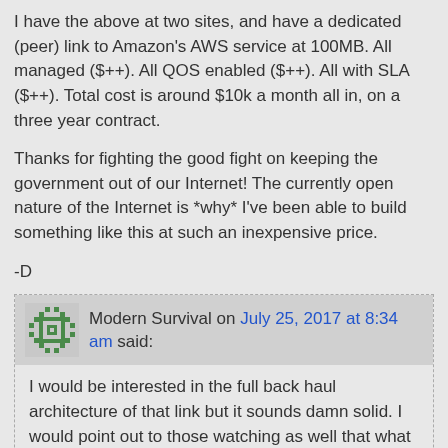I have the above at two sites, and have a dedicated (peer) link to Amazon's AWS service at 100MB. All managed ($++). All QOS enabled ($++). All with SLA ($++). Total cost is around $10k a month all in, on a three year contract.
Thanks for fighting the good fight on keeping the government out of our Internet! The currently open nature of the Internet is *why* I've been able to build something like this at such an inexpensive price.
-D
Modern Survival on July 25, 2017 at 8:34 am said:
I would be interested in the full back haul architecture of that link but it sounds damn solid. I would point out to those watching as well that what you say pretty much guarantees you are not getting an actual 100 MB connection that actually has 100 MB of throughput from any cable provider for 50 bucks a month. Essentially what you seem to have from what you are telling me is a 1 Gig fiber connection to a back plane with a guarantee of fast Ethernet (100mbps) speeds.